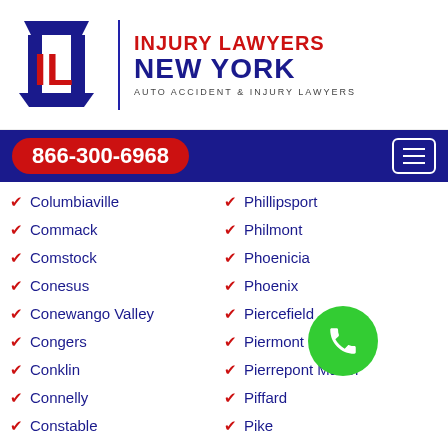[Figure (logo): Injury Lawyers New York logo with IL columns icon, divider line, firm name and tagline]
866-300-6968
Columbiaville
Phillipsport
Commack
Philmont
Comstock
Phoenicia
Conesus
Phoenix
Conewango Valley
Piercefield
Congers
Piermont
Conklin
Pierrepont Manor
Connelly
Piffard
Constable
Pike
Constableville
Pine Bush
Constantia
Pine City